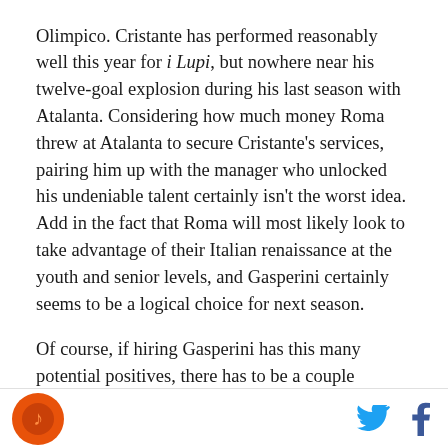Olimpico. Cristante has performed reasonably well this year for i Lupi, but nowhere near his twelve-goal explosion during his last season with Atalanta. Considering how much money Roma threw at Atalanta to secure Cristante's services, pairing him up with the manager who unlocked his undeniable talent certainly isn't the worst idea. Add in the fact that Roma will most likely look to take advantage of their Italian renaissance at the youth and senior levels, and Gasperini certainly seems to be a logical choice for next season.
Of course, if hiring Gasperini has this many potential positives, there has to be a couple reasons why the
[Figure (logo): Circular orange logo with a musical note or similar icon in dark red/brown]